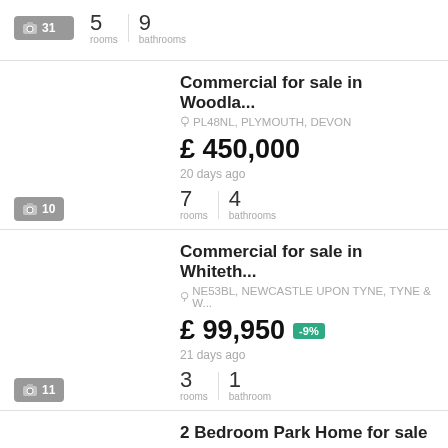[Figure (other): Photo count badge showing camera icon and 31]
5 rooms | 9 bathrooms
Commercial for sale in Woodla...
PL48NL, PLYMOUTH, DEVON
£ 450,000
20 days ago
[Figure (other): Photo count badge showing camera icon and 10]
7 rooms | 4 bathrooms
Commercial for sale in Whiteth...
NE53BL, NEWCASTLE UPON TYNE, TYNE & W...
£ 99,950 -9%
21 days ago
[Figure (other): Photo count badge showing camera icon and 11]
3 rooms | 1 bathroom
2 Bedroom Park Home for sale ...
WD62RW, BARNET GATE, BARNET
£ 325,000 -6%